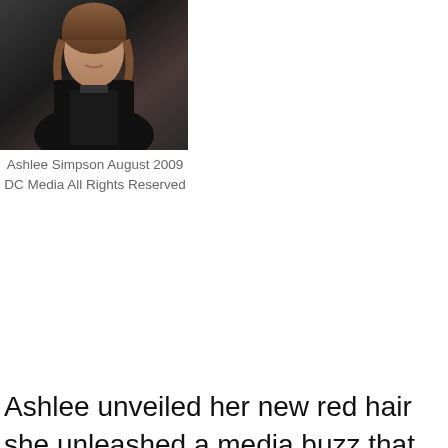[Figure (photo): Photo of Ashlee Simpson wearing black outfit, August 2009]
Ashlee Simpson August 2009
DC Media All Rights Reserved
Ashlee unveiled her new red hair she unleashed a media buzz that spread like wildfire across the web and spilled over into the fashion mags and weeklies.
About the same time as she unveiled her drastic new hue Ashlee announced that her third CD would be released in April of 2008. She hit the circuit